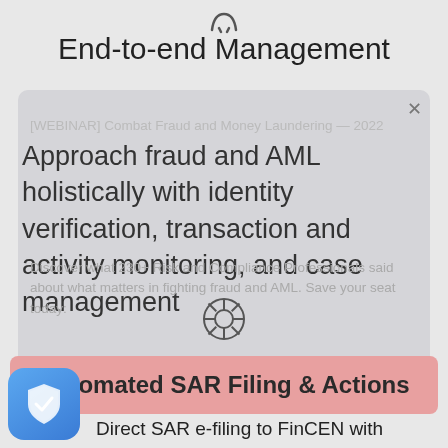End-to-end Management
Approach fraud and AML holistically with identity verification, transaction and activity monitoring, and case management
Discover what 230+ Risk and Compliance Professionals said about what matters in fighting fraud and AML. Save your seat today:
Automated SAR Filing & Actions
Direct SAR e-filing to FinCEN with templated and pre-populated SARs and narratives. Automated goAML reporting to 56+ countries